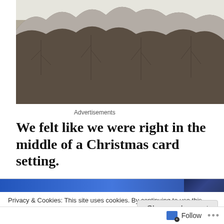[Figure (photo): A winter landscape photograph showing bare trees covered in snow or frost, viewed from below, with a grey-white sky background.]
Advertisements
We felt like we were right in the middle of a Christmas card setting.
Privacy & Cookies: This site uses cookies. By continuing to use this website, you agree to their use.
To find out more, including how to control cookies, see here: Cookie Policy
Close and accept
Follow